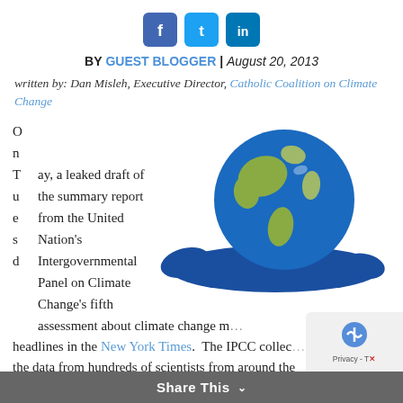[Figure (other): Three social media share buttons: Facebook (blue), Twitter (light blue), LinkedIn (blue)]
BY GUEST BLOGGER | August 20, 2013
written by: Dan Misleh, Executive Director, Catholic Coalition on Climate Change
[Figure (illustration): A globe/Earth rendered as if melting, with the continents visible and blue liquid spreading out from its base — a visual metaphor for climate change.]
On Tuesday, a leaked draft of the summary report from the United Nation's Intergovernmental Panel on Climate Change's fifth assessment about climate change made headlines in the New York Times. The IPCC collects the data from hundreds of scientists from around the
Share This